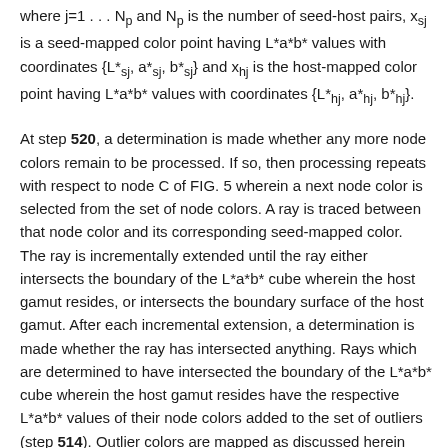where j=1 . . . Np and Np is the number of seed-host pairs, xsj is a seed-mapped color point having L*a*b* values with coordinates {L*sj, a*sj, b*sj} and xhj is the host-mapped color point having L*a*b* values with coordinates {L*hj, a*hj, b*hj}.
At step 520, a determination is made whether any more node colors remain to be processed. If so, then processing repeats with respect to node C of FIG. 5 wherein a next node color is selected from the set of node colors. A ray is traced between that node color and its corresponding seed-mapped color. The ray is incrementally extended until the ray either intersects the boundary of the L*a*b* cube wherein the host gamut resides, or intersects the boundary surface of the host gamut. After each incremental extension, a determination is made whether the ray has intersected anything. Rays which are determined to have intersected the boundary of the L*a*b* cube wherein the host gamut resides have the respective L*a*b* values of their node colors added to the set of outliers (step 514). Outlier colors are mapped as discussed herein further with respect to step 534. If a ray intersects the boundary